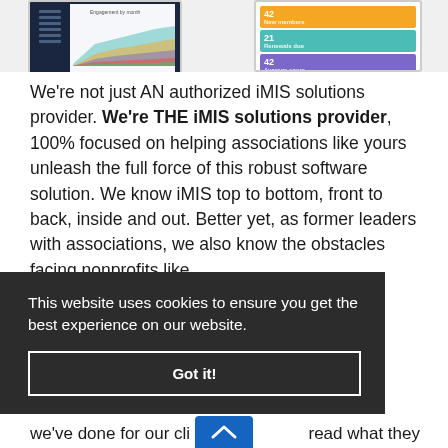[Figure (screenshot): Two mobile/desktop app screenshots showing iMIS dashboard with funnel chart on left and metric cards (orange, teal, purple) on right]
We're not just AN authorized iMIS solutions provider. We're THE iMIS solutions provider, 100% focused on helping associations like yours unleash the full force of this robust software solution. We know iMIS top to bottom, front to back, inside and out. Better yet, as former leaders with associations, we also know the obstacles facing nonprofits like
This website uses cookies to ensure you get the best experience on our website.
Got it!
we've done for our cli
read what they